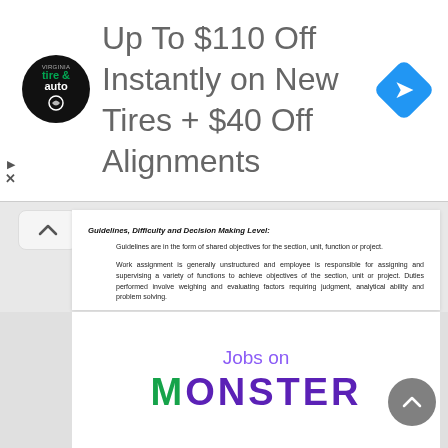[Figure (logo): Advertisement banner: tire and auto logo circle on left, large text 'Up To $110 Off Instantly on New Tires + $40 Off Alignments', blue diamond navigation icon on right]
Guidelines, Difficulty and Decision Making Level:
Guidelines are in the form of shared objectives for the section, unit, function or project.
Work assignment is generally unstructured and employee is responsible for assigning and supervising a variety of functions to achieve objectives of the section, unit or project. Duties performed involve weighing and evaluating factors requiring judgment, analytical ability and problem solving.
Employee is responsible for simultaneous coordination and supervision of several functions, programs or projects in various stages of completion.
Level of Supervision Received and Quality Review:
Under managerial direction, the employee has personal accountability for carrying out the work objectives of an organizational unit or section within the scope of established guidelines and the
[Figure (logo): Bottom advertisement: 'Jobs on MONSTER' text in purple/green colors]